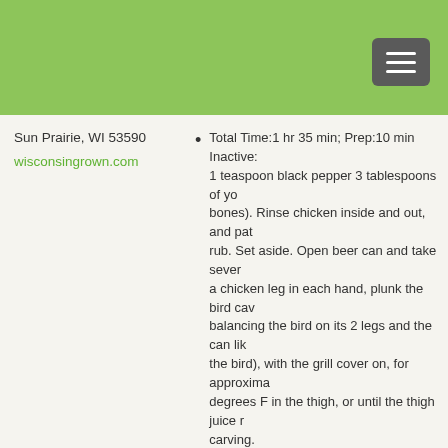Sun Prairie, WI 53590
wisconsingrown.com
Total Time:1 hr 35 min; Prep:10 min Inactive: 1 teaspoon black pepper 3 tablespoons of yo... bones). Rinse chicken inside and out, and pat rub. Set aside. Open beer can and take sever a chicken leg in each hand, plunk the bird cav balancing the bird on its 2 legs and the can lik the bird), with the grill cover on, for approxima degrees F in the thigh, or until the thigh juice r carving.
Beer Can Chicken by the BBQ Pit Boys
[Figure (screenshot): BBQ Pit Boys video thumbnail showing 'How to grill Beer Can Chic...' with BBQ Pit Boys logo and large text 'BEER CA' at bottom]